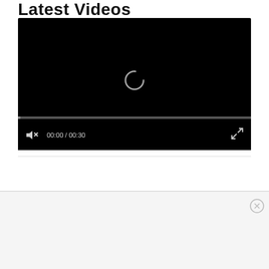Latest Videos
[Figure (screenshot): Video player with black screen showing a loading spinner, a progress bar near the bottom, and a controls bar with mute icon, timestamp '00:00 / 00:30', and fullscreen button.]
[Figure (other): Close button (X in circle) in top-right area of a light gray advertisement panel below a horizontal divider.]